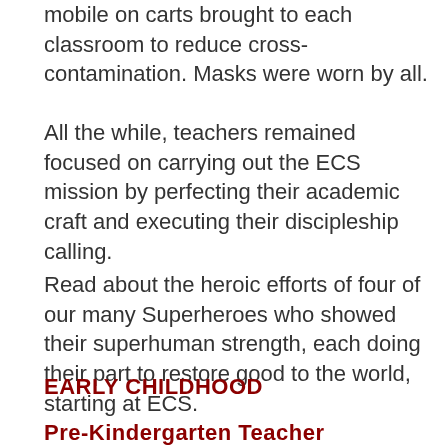mobile on carts brought to each classroom to reduce cross-contamination. Masks were worn by all.
All the while, teachers remained focused on carrying out the ECS mission by perfecting their academic craft and executing their discipleship calling.
Read about the heroic efforts of four of our many Superheroes who showed their superhuman strength, each doing their part to restore good to the world, starting at ECS.
EARLY CHILDHOOD
Pre-Kindergarten Teacher